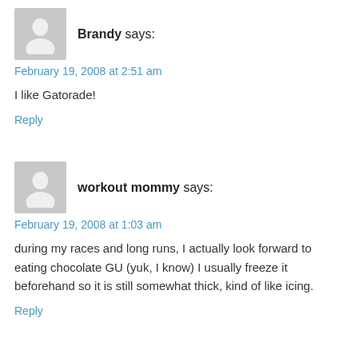[Figure (illustration): Grey placeholder avatar silhouette for user Brandy]
Brandy says:
February 19, 2008 at 2:51 am
I like Gatorade!
Reply
[Figure (illustration): Grey placeholder avatar silhouette for user workout mommy]
workout mommy says:
February 19, 2008 at 1:03 am
during my races and long runs, I actually look forward to eating chocolate GU (yuk, I know) I usually freeze it beforehand so it is still somewhat thick, kind of like icing.
Reply